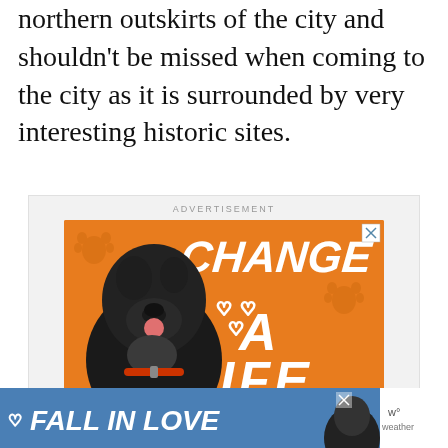northern outskirts of the city and shouldn't be missed when coming to the city as it is surrounded by very interesting historic sites.
[Figure (illustration): Advertisement banner with orange background featuring a black Labrador dog and text reading 'CHANGE A LIFE' with heart outlines. Labeled 'ADVERTISEMENT' at top.]
[Figure (illustration): Bottom advertisement banner with blue background featuring text 'FALL IN LOVE' in white italic font with a person/dog image on the right and a weather icon.]